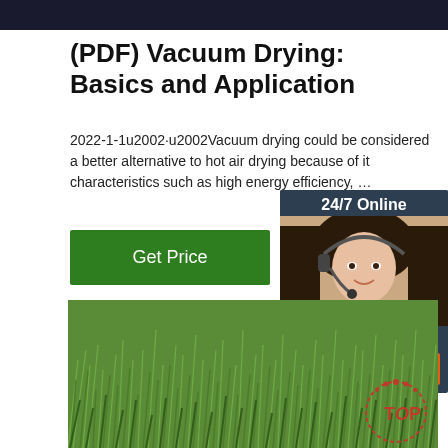[Figure (photo): Dark top banner bar]
(PDF) Vacuum Drying: Basics and Application
2022-1-1u2002·u2002Vacuum drying could be considered a better alternative to hot air drying because of its characteristics such as high energy efficiency, …
Get Price
[Figure (photo): Customer service agent with headset, chat widget with 24/7 Online label, Click here for free chat text, and QUOTATION button]
[Figure (photo): Close-up photo of green grass blades]